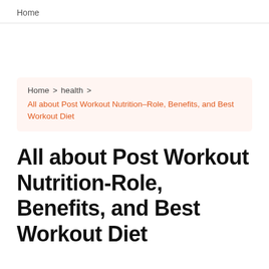Home
Home > health > All about Post Workout Nutrition-Role, Benefits, and Best Workout Diet
All about Post Workout Nutrition-Role, Benefits, and Best Workout Diet